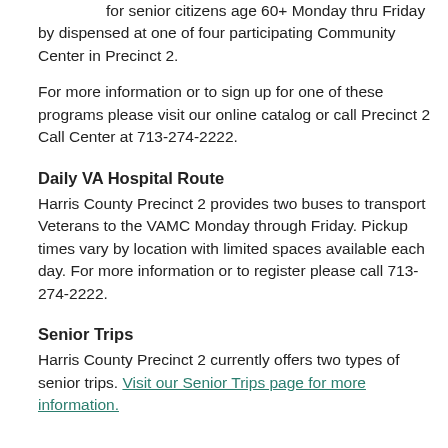for senior citizens age 60+ Monday thru Friday by dispensed at one of four participating Community Center in Precinct 2.
For more information or to sign up for one of these programs please visit our online catalog or call Precinct 2 Call Center at 713-274-2222.
Daily VA Hospital Route
Harris County Precinct 2 provides two buses to transport Veterans to the VAMC Monday through Friday. Pickup times vary by location with limited spaces available each day. For more information or to register please call 713-274-2222.
Senior Trips
Harris County Precinct 2 currently offers two types of senior trips. Visit our Senior Trips page for more information.